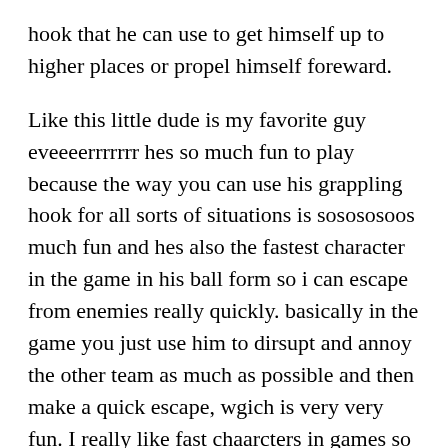hook that he can use to get himself up to higher places or propel himself foreward.
Like this little dude is my favorite guy eveeeerrrrrrr hes so much fun to play because the way you can use his grappling hook for all sorts of situations is sosososoos much fun and hes also the fastest character in the game in his ball form so i can escape from enemies really quickly. basically in the game you just use him to dirsupt and annoy the other team as much as possible and then make a quick escape, wgich is very very fun. I really like fast chaarcters in games so this litlle man is perfect for meeee.
I hope you all have a sugoi epic kawaii kakkoii day!!!!!!!!!!!!!!!!!!!!
Soerry to all those who like my usual content